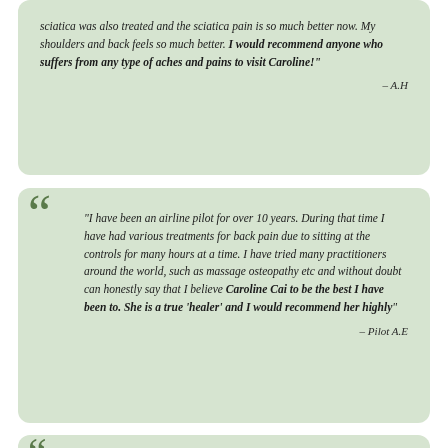sciatica was also treated and the sciatica pain is so much better now. My shoulders and back feels so much better. I would recommend anyone who suffers from any type of aches and pains to visit Caroline!"
- A.H
"I have been an airline pilot for over 10 years. During that time I have had various treatments for back pain due to sitting at the controls for many hours at a time. I have tried many practitioners around the world, such as massage osteopathy etc and without doubt can honestly say that I believe Caroline Cai to be the best I have been to. She is a true 'healer' and I would recommend her highly"
- Pilot A.E